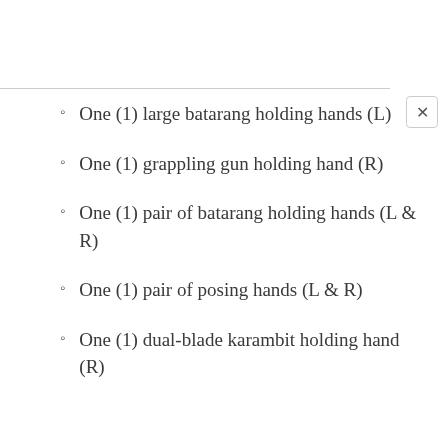One (1) large batarang holding hands (L)
One (1) grappling gun holding hand (R)
One (1) pair of batarang holding hands (L & R)
One (1) pair of posing hands (L & R)
One (1) dual-blade karambit holding hand (R)